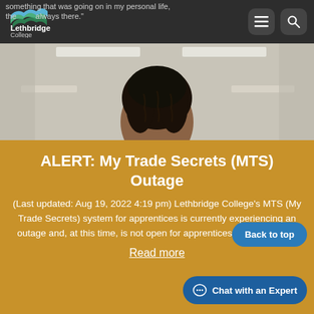Lethbridge College
something that was going on in my personal life, the [logo] always there."
[Figure (photo): Photo of a person with braided hair in an institutional hallway with fluorescent ceiling lights]
ALERT: My Trade Secrets (MTS) Outage
(Last updated: Aug 19, 2022 4:19 pm) Lethbridge College's MTS (My Trade Secrets) system for apprentices is currently experiencing an outage and, at this time, is not open for apprenticeship registration.
Read more
Back to top
Chat with an Expert